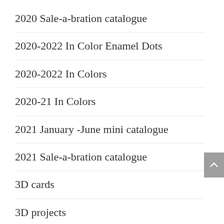2020 Sale-a-bration catalogue
2020-2022 In Color Enamel Dots
2020-2022 In Colors
2020-21 In Colors
2021 January -June mini catalogue
2021 Sale-a-bration catalogue
3D cards
3D projects
A good man stamp set
Abigail Rose DSP